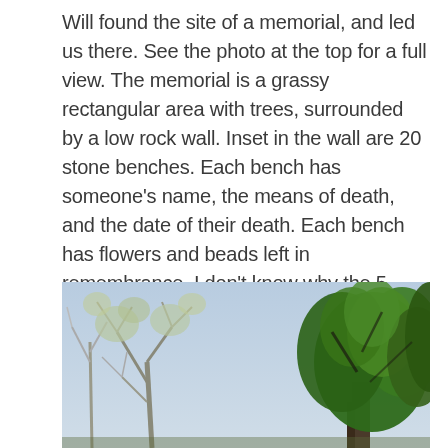Will found the site of a memorial, and led us there. See the photo at the top for a full view. The memorial is a grassy rectangular area with trees, surrounded by a low rock wall. Inset in the wall are 20 stone benches. Each bench has someone's name, the means of death, and the date of their death. Each bench has flowers and beads left in remembrance. I don't know why the 5 who died in jail weren't honored. I feel the court was just as much responsible for their deaths as for the ones who were actively hanged or pressed.
[Figure (photo): Photograph of trees against a light blue sky. On the left are bare or lightly leafed trees with pale branches, and on the right is a large tree with dense green foliage. The image is cropped showing only the upper portion of the trees and sky.]